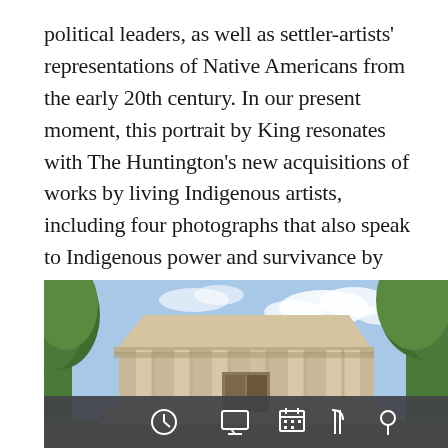political leaders, as well as settler-artists' representations of Native Americans from the early 20th century. In our present moment, this portrait by King resonates with The Huntington's new acquisitions of works by living Indigenous artists, including four photographs that also speak to Indigenous power and survivance by contemporary artists Cara Romero (Chemehuevi) and Mercedes Dorame (Tongva).
[Figure (photo): Photograph of a neoclassical building with columns and a triangular pediment, framed by green trees against a blue sky with light clouds. The building appears to be a museum or library. At the bottom of the image is a dark mobile navigation toolbar with icons for clock, screen/display, calendar, utensils, and location pin.]